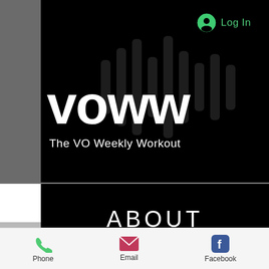[Figure (screenshot): VOWW - The VO Weekly Workout website screenshot showing logo, About section, body text, and mobile toolbar]
voww
The VO Weekly Workout
ABOUT
VO Weekly Workout is a joint venture between voice actors Tim Friedlander of the...
Phone   Email   Facebook